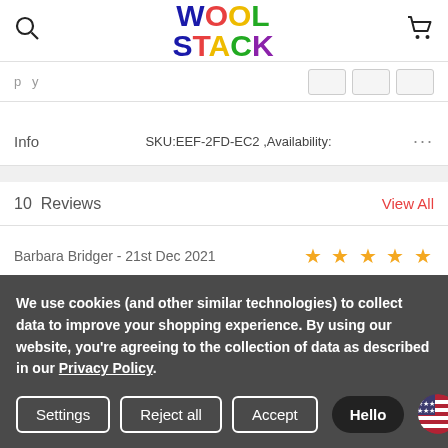WOOL STACK
Info   SKU:EEF-2FD-EC2 ,Availability:   ...
10 Reviews   View All
Barbara Bridger - 21st Dec 2021   ★★★★★
Knit Pro Interchangeable Needle Cable
Always use Knit Pro and cable just the best for value and ease of use
We use cookies (and other similar technologies) to collect data to improve your shopping experience. By using our website, you're agreeing to the collection of data as described in our Privacy Policy.